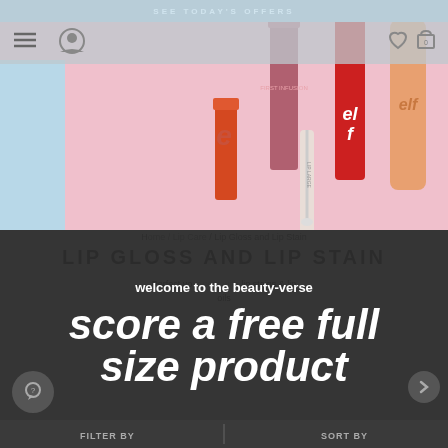[Figure (photo): e.l.f. cosmetics hero banner showing lip products including lip gloss, lip stain, and lipstick on a pink background with navigation bar overlay]
SEE TODAY'S OFFERS
Home / Lip Care / Lip Gloss and Lip Stain
LIP GLOSS AND LIP STAIN
Perfect your pout with lip stains & lip oils
welcome to the beauty-verse
score a free full size product
FILTER BY
SORT BY